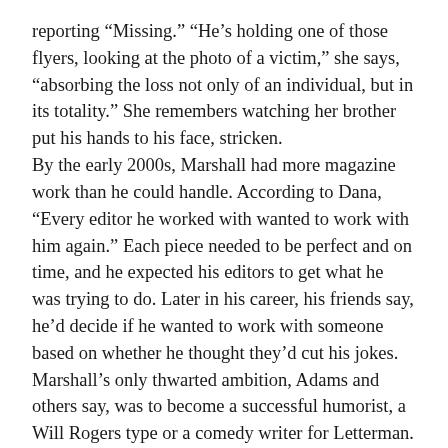reporting “Missing.” “He’s holding one of those flyers, looking at the photo of a victim,” she says, “absorbing the loss not only of an individual, but in its totality.” She remembers watching her brother put his hands to his face, stricken.
By the early 2000s, Marshall had more magazine work than he could handle. According to Dana, “Every editor he worked with wanted to work with him again.” Each piece needed to be perfect and on time, and he expected his editors to get what he was trying to do. Later in his career, his friends say, he’d decide if he wanted to work with someone based on whether he thought they’d cut his jokes.
Marshall’s only thwarted ambition, Adams and others say, was to become a successful humorist, a Will Rogers type or a comedy writer for Letterman. That